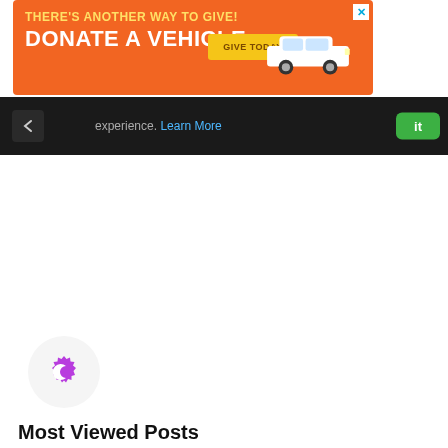[Figure (screenshot): Orange advertisement banner reading 'THERE'S ANOTHER WAY TO GIVE! DONATE A VEHICLE GIVE TODAY' with a white car image on the right and a close (X) button]
[Figure (screenshot): Dark navigation bar with a back chevron icon, partial text 'experience. Learn More' in grey/blue, and a green button on the right]
[Figure (logo): Purple crescent/gear icon in a light grey circle]
Most Viewed Posts